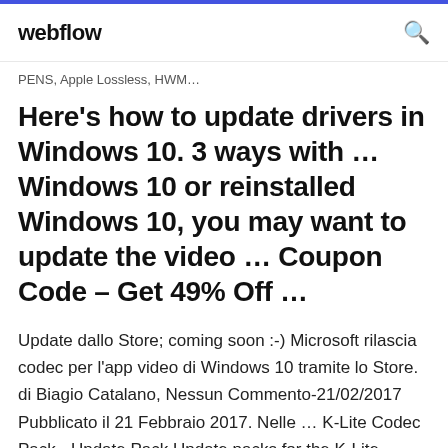webflow
PENS, Apple Lossless, HWM...
Here's how to update drivers in Windows 10. 3 ways with ... Windows 10 or reinstalled Windows 10, you may want to update the video ... Coupon Code – Get 49% Off ...
Update dallo Store; coming soon :-) Microsoft rilascia codec per l'app video di Windows 10 tramite lo Store. di Biagio Catalano, Nessun Commento-21/02/2017 Pubblicato il 21 Febbraio 2017. Nelle ... K-Lite Codec Pack - Update Pack Update packs for the K-Lite Codec Pack. KLCP